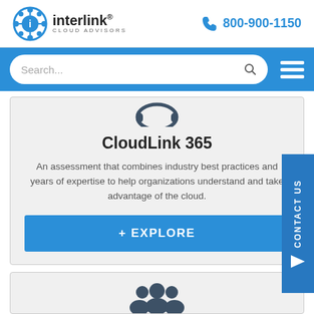[Figure (logo): Interlink Cloud Advisors logo with blue gear/network icon]
800-900-1150
[Figure (screenshot): Blue navigation bar with search box and hamburger menu icon]
[Figure (illustration): Partial cloud/headset icon at top of card]
CloudLink 365
An assessment that combines industry best practices and years of expertise to help organizations understand and take advantage of the cloud.
[Figure (illustration): + EXPLORE button in blue]
[Figure (illustration): Partial group/people icon at top of second card]